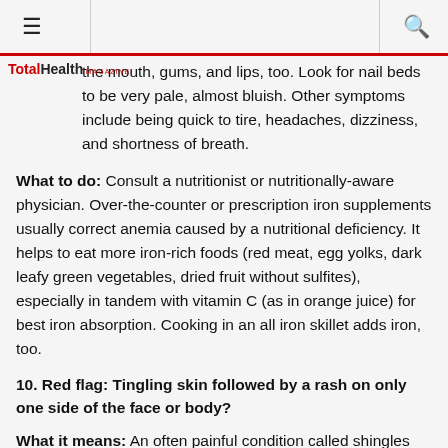≡  [TotalHealth MAGAZINE logo]  🔍
the mouth, gums, and lips, too. Look for nail beds to be very pale, almost bluish. Other symptoms include being quick to tire, headaches, dizziness, and shortness of breath.
What to do: Consult a nutritionist or nutritionally-aware physician. Over-the-counter or prescription iron supplements usually correct anemia caused by a nutritional deficiency. It helps to eat more iron-rich foods (red meat, egg yolks, dark leafy green vegetables, dried fruit without sulfites), especially in tandem with vitamin C (as in orange juice) for best iron absorption. Cooking in an all iron skillet adds iron, too.
10. Red flag: Tingling skin followed by a rash on only one side of the face or body?
What it means: An often painful condition called shingles (herpes zoster) announces itself in this distinctive way. Shingles is caused by the same virus that gives people